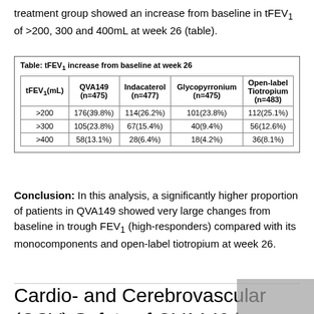treatment group showed an increase from baseline in tFEV₁ of >200, 300 and 400mL at week 26 (table).
| tFEV₁(mL) | QVA149 (n=475) | Indacaterol (n=477) | Glycopyrronium (n=475) | Open-label Tiotropium (n=483) |
| --- | --- | --- | --- | --- |
| >200 | 176(39.8%) | 114(26.2%) | 101(23.8%) | 112(25.1%) |
| >300 | 105(23.8%) | 67(15.4%) | 40(9.4%) | 56(12.6%) |
| >400 | 58(13.1%) | 28(6.4%) | 18(4.2%) | 36(8.1%) |
Conclusion: In this analysis, a significantly higher proportion of patients in QVA149 showed very large changes from baseline in trough FEV₁ (high-responders) compared with its monocomponents and open-label tiotropium at week 26.
Cardio- and Cerebrovascular (CCV) Safety of QVA149 in Patients with Moderate-To-Severe COPD: A Pooled Analysis